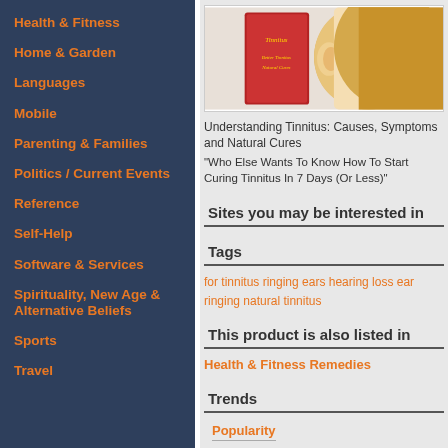Health & Fitness
Home & Garden
Languages
Mobile
Parenting & Families
Politics / Current Events
Reference
Self-Help
Software & Services
Spirituality, New Age & Alternative Beliefs
Sports
Travel
[Figure (photo): Book cover about Tinnitus with a woman's ear and blonde hair visible]
Understanding Tinnitus: Causes, Symptoms and Natural Cures
"Who Else Wants To Know How To Start Curing Tinnitus In 7 Days (Or Less)"
Sites you may be interested in
Tags
for tinnitus ringing ears hearing loss ear ringing natural tinnitus
This product is also listed in
Health & Fitness Remedies
Trends
Popularity
lower = better; 1 = best